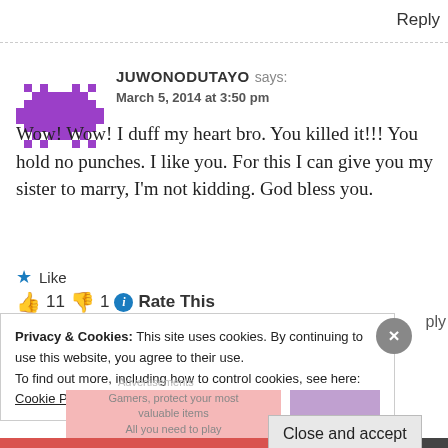Reply
[Figure (illustration): Purple pixelated avatar icon resembling a space invader character]
JUWONODUTAYO says: March 5, 2014 at 3:50 pm
Wow! Wow! I duff my heart bro. You killed it!!! You hold no punches. I like you. For this I can give you my sister to marry, I'm not kidding. God bless you.
★ Like
👍 11 👎 1 ℹ Rate This
Privacy & Cookies: This site uses cookies. By continuing to use this website, you agree to their use.
To find out more, including how to control cookies, see here: Cookie Policy
Close and accept